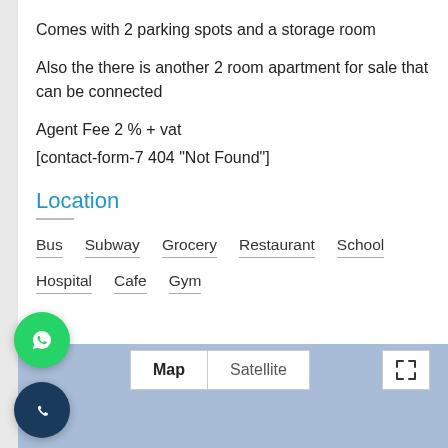Comes with 2 parking spots and a storage room
Also the there is another 2 room apartment for sale that can be connected
Agent Fee 2 % + vat
[contact-form-7 404 "Not Found"]
Location
Bus
Subway
Grocery
Restaurant
School
Hospital
Cafe
Gym
[Figure (map): Embedded map with Map/Satellite toggle and fullscreen button, showing a blue placeholder map area]